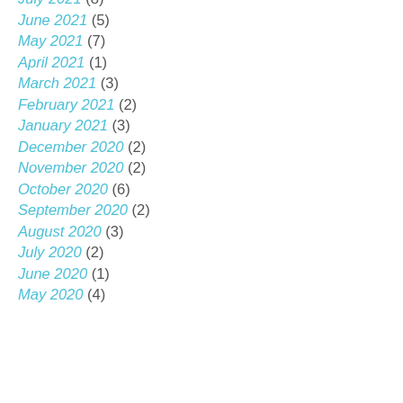July 2021 (8)
June 2021 (5)
May 2021 (7)
April 2021 (1)
March 2021 (3)
February 2021 (2)
January 2021 (3)
December 2020 (2)
November 2020 (2)
October 2020 (6)
September 2020 (2)
August 2020 (3)
July 2020 (2)
June 2020 (1)
May 2020 (4)